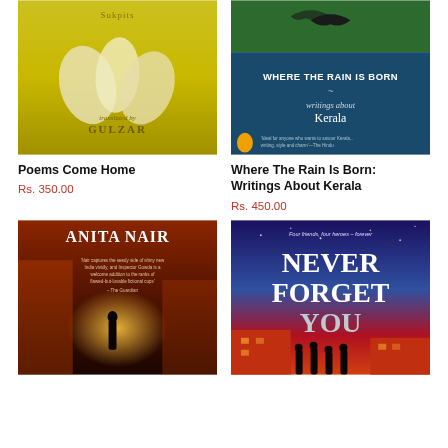[Figure (photo): Book cover: Poems Come Home, translated by Gulzar, yellow/green tones with flower imagery]
Poems Come Home
Rs. 350.00
[Figure (photo): Book cover: Where The Rain Is Born: Writings About Kerala, dark teal cover with bird silhouette]
Where The Rain Is Born: Writings About Kerala
Rs. 450.00
[Figure (photo): Book cover: Anita Nair crime fiction with dark alley scene]
[Figure (photo): Book cover: Never Forget You — four friends, four heroes — forever]